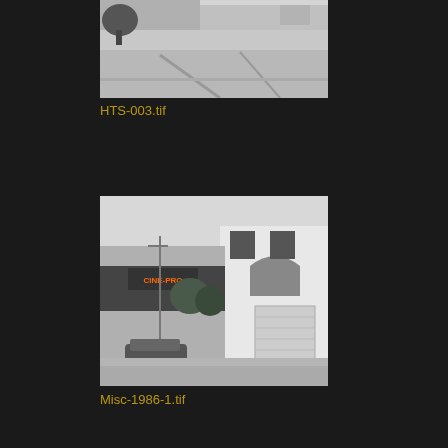[Figure (photo): Black and white photograph showing a street scene with a building and parking area, cropped at top]
HTS-003.tif
[Figure (photo): Black and white photograph of a two-story commercial building with 'CINE-PRO' signage, street-level view with a car parked in front]
Misc-1986-1.tif